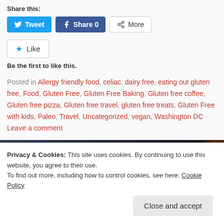Share this:
[Figure (screenshot): Social sharing buttons: Tweet (Twitter), Share 0 (Facebook), More]
[Figure (screenshot): Like button with star icon]
Be the first to like this.
Posted in Allergy friendly food, celiac, dairy free, eating out gluten free, Food, Gluten Free, Gluten Free Baking, Gluten free coffee, Gluten free pizza, Gluten free travel, gluten free treats, Gluten Free with kids, Paleo, Travel, Uncategorized, vegan, Washington DC · Leave a comment
[Figure (photo): Dark background with orange element visible, partial article image]
Privacy & Cookies: This site uses cookies. By continuing to use this website, you agree to their use. To find out more, including how to control cookies, see here: Cookie Policy
Close and accept